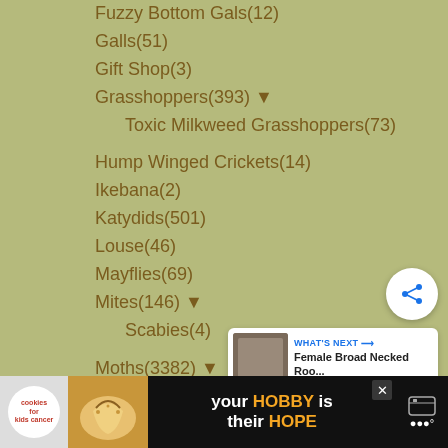Fuzzy Bottom Gals(12)
Galls(51)
Gift Shop(3)
Grasshoppers(393) ▼
Toxic Milkweed Grasshoppers(73)
Hump Winged Crickets(14)
Ikebana(2)
Katydids(501)
Louse(46)
Mayflies(69)
Mites(146) ▼
Scabies(4)
Moths(3382) ▼
Bagworm Moths(5)
Butterfly Moths(5)
Clearwings(80)
Diurnal Moths(1)
Ermine Moths(45)
[Figure (screenshot): Share button (circular white button with share icon) and 'What's Next' widget showing Female Broad Necked Roo... article preview]
[Figure (screenshot): Advertisement banner: cookies for kids cancer - your HOBBY is their HOPE]